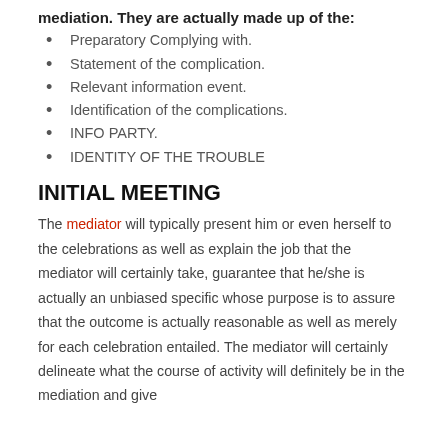mediation. They are actually made up of the:
Preparatory Complying with.
Statement of the complication.
Relevant information event.
Identification of the complications.
INFO PARTY.
IDENTITY OF THE TROUBLE
INITIAL MEETING
The mediator will typically present him or even herself to the celebrations as well as explain the job that the mediator will certainly take, guarantee that he/she is actually an unbiased specific whose purpose is to assure that the outcome is actually reasonable as well as merely for each celebration entailed. The mediator will certainly delineate what the course of activity will definitely be in the mediation and give